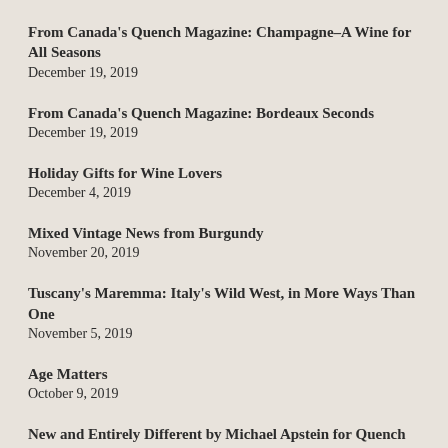From Canada's Quench Magazine: Champagne–A Wine for All Seasons
December 19, 2019
From Canada's Quench Magazine: Bordeaux Seconds
December 19, 2019
Holiday Gifts for Wine Lovers
December 4, 2019
Mixed Vintage News from Burgundy
November 20, 2019
Tuscany's Maremma: Italy's Wild West, in More Ways Than One
November 5, 2019
Age Matters
October 9, 2019
New and Entirely Different by Michael Apstein for Quench Magazine
October 7, 2019
A Star on Long Island